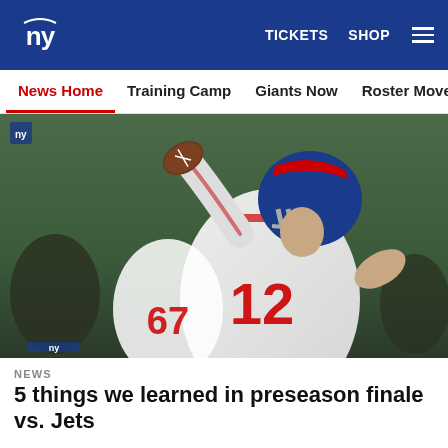NY Giants — TICKETS  SHOP  ☰
News Home  Training Camp  Giants Now  Roster Moves  Fact o
[Figure (photo): NY Giants quarterback #12 in white uniform throwing a football during the preseason game vs. Jets]
NEWS
5 things we learned in preseason finale vs. Jets
Social share icons: Facebook, Twitter, Email, Link